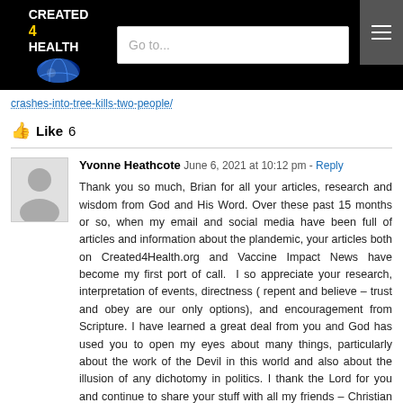CREATED 4 HEALTH — Go to... [navigation menu]
crashes-into-tree-kills-two-people/
Like 6
Yvonne Heathcote  June 6, 2021 at 10:12 pm - Reply

Thank you so much, Brian for all your articles, research and wisdom from God and His Word. Over these past 15 months or so, when my email and social media have been full of articles and information about the plandemic, your articles both on Created4Health.org and Vaccine Impact News have become my first port of call.  I so appreciate your research, interpretation of events, directness ( repent and believe – trust and obey are our only options), and encouragement from Scripture. I have learned a great deal from you and God has used you to open my eyes about many things, particularly about the work of the Devil in this world and also about the illusion of any dichotomy in politics. I thank the Lord for you and continue to share your stuff with all my friends – Christian and non-Christian.